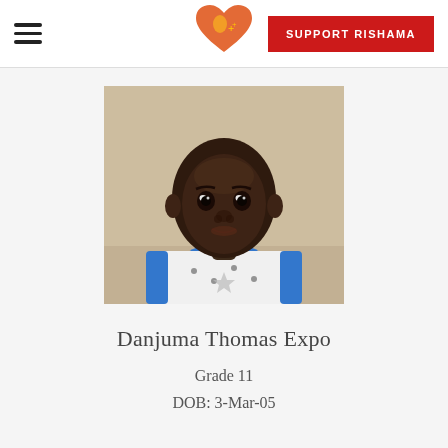SUPPORT RISHAMA
[Figure (photo): Portrait photo of a young boy named Danjuma Thomas Expo wearing a white and blue patterned shirt, standing against a light-colored wall]
Danjuma Thomas Expo
Grade 11
DOB: 3-Mar-05